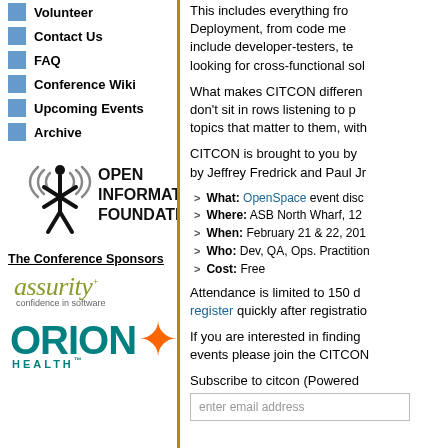Volunteer
Contact Us
FAQ
Conference Wiki
Upcoming Events
Archive
[Figure (logo): Open Information Foundation logo with wireless signal icon and person figure]
The Conference Sponsors
[Figure (logo): Assurity - confidence in software logo]
[Figure (logo): Orion Health logo with orange star]
This includes everything from Deployment, from code me... include developer-testers, te... looking for cross-functional sol...
What makes CITCON different... don't sit in rows listening to p... topics that matter to them, with...
CITCON is brought to you by... by Jeffrey Fredrick and Paul Jr...
What: OpenSpace event disc...
Where: ASB North Wharf, 12...
When: February 21 & 22, 201...
Who: Dev, QA, Ops. Practition...
Cost: Free
Attendance is limited to 150 d... register quickly after registratio...
If you are interested in finding... events please join the CITCON...
Subscribe to citcon (Powered...
enter email address